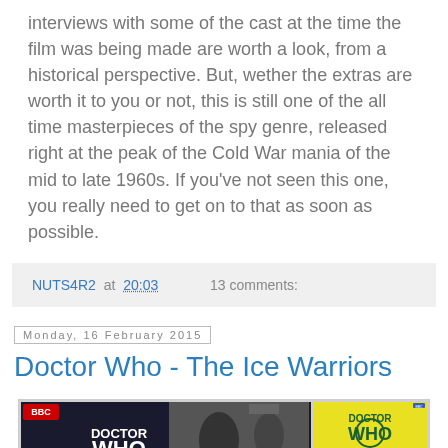interviews with some of the cast at the time the film was being made are worth a look, from a historical perspective. But, wether the extras are worth it to you or not, this is still one of the all time masterpieces of the spy genre, released right at the peak of the Cold War mania of the mid to late 1960s. If you've not seen this one, you really need to get on to that as soon as possible.
NUTS4R2 at 20:03    13 comments:
Monday, 16 February 2015
Doctor Who - The Ice Warriors
[Figure (photo): Two Doctor Who DVD/book covers side by side: left is the DVD cover for 'Doctor Who: The Ice Warriors' showing Patrick Troughton era imagery with black and white photos and the Ice Warriors; right is a book cover 'Doctor Who and the Ice Warriors' showing colorful illustration of Ice Warriors.]